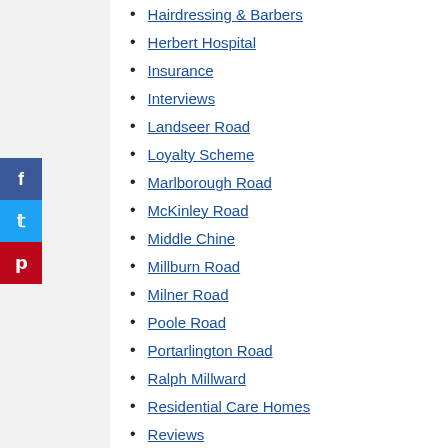Hairdressing & Barbers
Herbert Hospital
Insurance
Interviews
Landseer Road
Loyalty Scheme
Marlborough Road
McKinley Road
Middle Chine
Millburn Road
Milner Road
Poole Road
Portarlington Road
Ralph Millward
Residential Care Homes
Reviews
RL Stevenson
Sandbourne Road
Seamoor Road